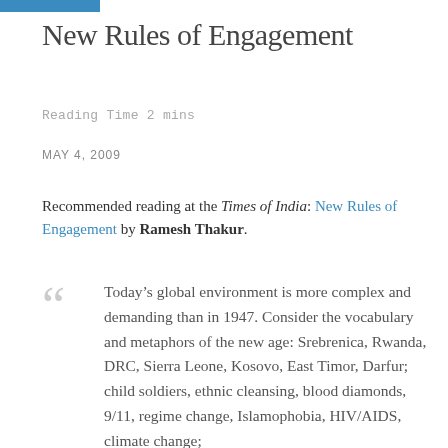New Rules of Engagement
Reading Time 2 mins
MAY 4, 2009
Recommended reading at the Times of India: New Rules of Engagement by Ramesh Thakur.
Today’s global environment is more complex and demanding than in 1947. Consider the vocabulary and metaphors of the new age: Srebrenica, Rwanda, DRC, Sierra Leone, Kosovo, East Timor, Darfur; child soldiers, ethnic cleansing, blood diamonds, 9/11, regime change, Islamophobia, HIV/AIDS, climate change;